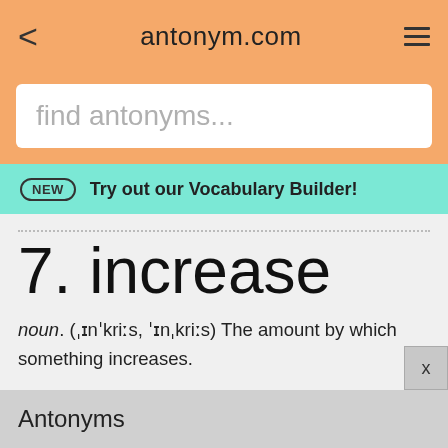antonym.com
find antonyms...
NEW  Try out our Vocabulary Builder!
7. increase
noun. (ˌɪnˈkriːs, ˈɪnˌkriːs) The amount by which something increases.
Antonyms